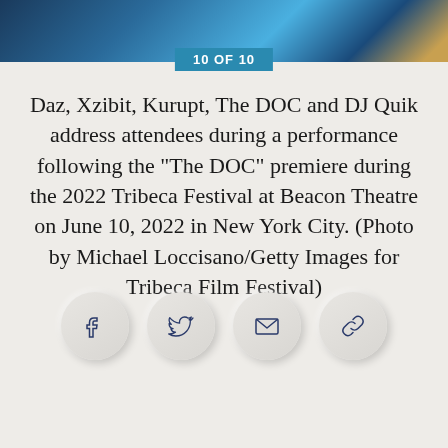[Figure (photo): Top portion of a concert/performance photo with blue lighting visible at top of page]
10 OF 10
Daz, Xzibit, Kurupt, The DOC and DJ Quik address attendees during a performance following the "The DOC" premiere during the 2022 Tribeca Festival at Beacon Theatre on June 10, 2022 in New York City. (Photo by Michael Loccisano/Getty Images for Tribeca Film Festival)
[Figure (infographic): Social sharing buttons: Facebook, Twitter, Email, Link]